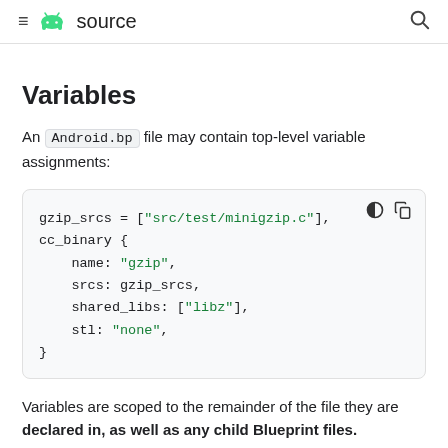≡ 🤖 source  🔍
Variables
An Android.bp file may contain top-level variable assignments:
[Figure (screenshot): Code block showing gzip_srcs variable assignment and cc_binary block with name, srcs, shared_libs, and stl fields in Android.bp syntax]
Variables are scoped to the remainder of the file they are declared in, as well as any child Blueprint files. Variables